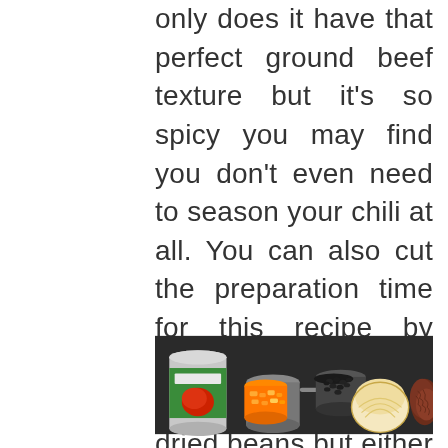only does it have that perfect ground beef texture but it's so spicy you may find you don't even need to season your chili at all. You can also cut the preparation time for this recipe by opting for canned beans instead of dried beans but either way, your watch, wallet, and tummy will be satisfied with this hearty bowl of goodness.
[Figure (photo): Overhead view of chili ingredients on a dark surface: a green can of tomatoes, a metal measuring cup filled with diced orange carrots, a small bowl of black beans, a halved onion, and a pile of ground beef.]